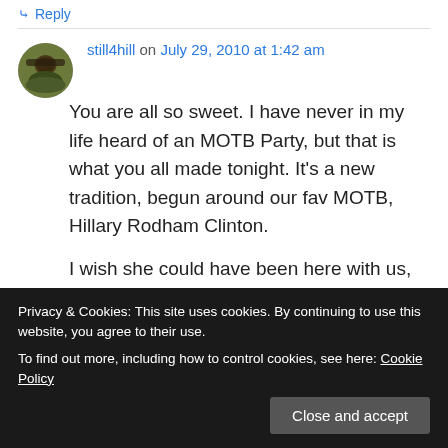↳ Reply
still4hill on July 29, 2010 at 1:42 am
You are all so sweet. I have never in my life heard of an MOTB Party, but that is what you all made tonight. It's a new tradition, begun around our fav MOTB, Hillary Rodham Clinton.

I wish she could have been here with us, but that would have subtracted from her time with her family. Luckily it is archived. Some day, maybe, she will see this post and the conf chat. The first fun
Privacy & Cookies: This site uses cookies. By continuing to use this website, you agree to their use.
To find out more, including how to control cookies, see here: Cookie Policy
Close and accept